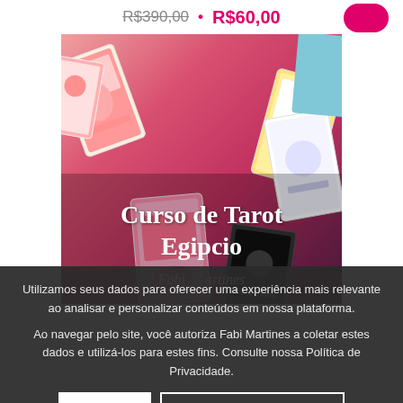R$390,00 • R$60,00
[Figure (illustration): Hero banner image for 'Curso de Tarot Egipcio' by Fabi Martines showing colorful tarot cards scattered on a pink/red background with white title text and author name in italic script]
Utilizamos seus dados para oferecer uma experiência mais relevante ao analisar e personalizar conteúdos em nossa plataforma.
Ao navegar pelo site, você autoriza Fabi Martines a coletar estes dados e utilizá-los para estes fins. Consulte nossa Política de Privacidade.
OK
Política de privacidade